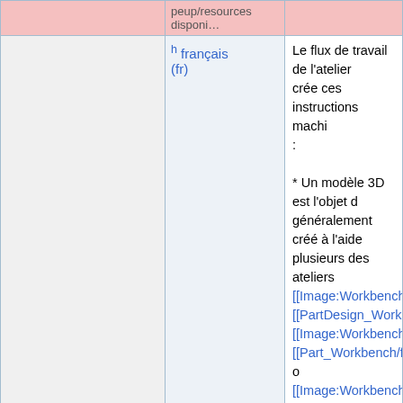|  | Language | Content |
| --- | --- | --- |
|  | h français (fr) | Le flux de travail de l'atelier crée ces instructions machi : * Un modèle 3D est l'objet généralement créé à l'aide plusieurs des ateliers [[Image:Workbench_PartDe [[PartDesign_Workbench/fr [[Image:Workbench_Part.sv [[Part_Workbench/fr|Part]] o [[Image:Workbench_Draft.s [[Draft_Workbench/fr|Draft]] * Une [[Path_Job/fr|Path Tâ dans l'atelier Path. Celui-ci les informations nécessaire le G-code nécessaire pour sur une fraiseuse CNC : il y matière (le stock), le |